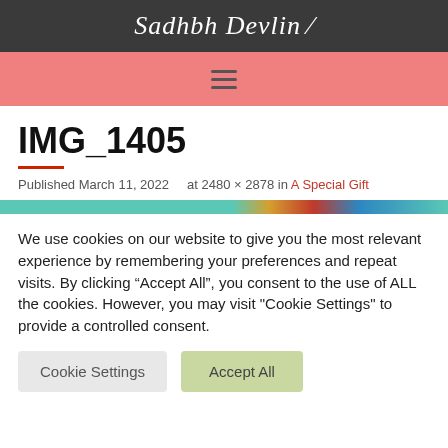Sadhbh Devlin
[Figure (other): Pink navigation bar with hamburger menu icon]
IMG_1405
Published March 11, 2022   at 2480 × 2878 in A Special Gift
[Figure (other): Thin colourful horizontal image strip showing teal, orange, red, blue colours]
We use cookies on our website to give you the most relevant experience by remembering your preferences and repeat visits. By clicking “Accept All”, you consent to the use of ALL the cookies. However, you may visit "Cookie Settings" to provide a controlled consent.
Cookie Settings   Accept All